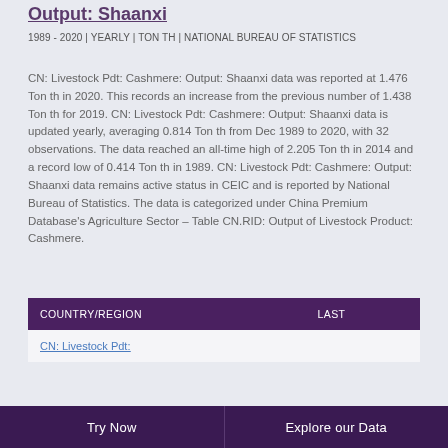Output: Shaanxi
1989 - 2020 | YEARLY | TON TH | NATIONAL BUREAU OF STATISTICS
CN: Livestock Pdt: Cashmere: Output: Shaanxi data was reported at 1.476 Ton th in 2020. This records an increase from the previous number of 1.438 Ton th for 2019. CN: Livestock Pdt: Cashmere: Output: Shaanxi data is updated yearly, averaging 0.814 Ton th from Dec 1989 to 2020, with 32 observations. The data reached an all-time high of 2.205 Ton th in 2014 and a record low of 0.414 Ton th in 1989. CN: Livestock Pdt: Cashmere: Output: Shaanxi data remains active status in CEIC and is reported by National Bureau of Statistics. The data is categorized under China Premium Database's Agriculture Sector – Table CN.RID: Output of Livestock Product: Cashmere.
| COUNTRY/REGION | LAST |
| --- | --- |
| CN: Livestock Pdt: |  |
Try Now    Explore our Data